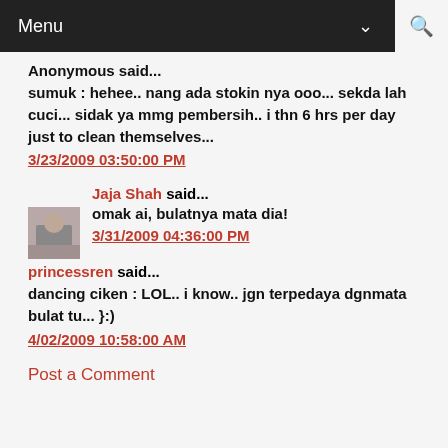Menu
Anonymous said...
sumuk : hehee.. nang ada stokin nya ooo... sekda lah cuci... sidak ya mmg pembersih.. i thn 6 hrs per day just to clean themselves...
3/23/2009 03:50:00 PM
Jaja Shah said...
omak ai, bulatnya mata dia!
3/31/2009 04:36:00 PM
princessren said...
dancing ciken : LOL.. i know.. jgn terpedaya dgnmata bulat tu... }:)
4/02/2009 10:58:00 AM
Post a Comment